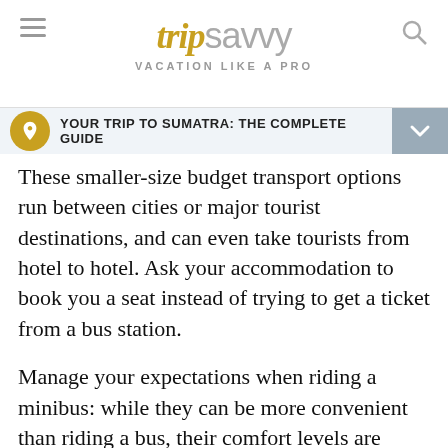tripsavvy VACATION LIKE A PRO
YOUR TRIP TO SUMATRA: THE COMPLETE GUIDE
These smaller-size budget transport options run between cities or major tourist destinations, and can even take tourists from hotel to hotel. Ask your accommodation to book you a seat instead of trying to get a ticket from a bus station.
Manage your expectations when riding a minibus: while they can be more convenient than riding a bus, their comfort levels are almost the same as economy buses, with little leg room and air-conditioning...